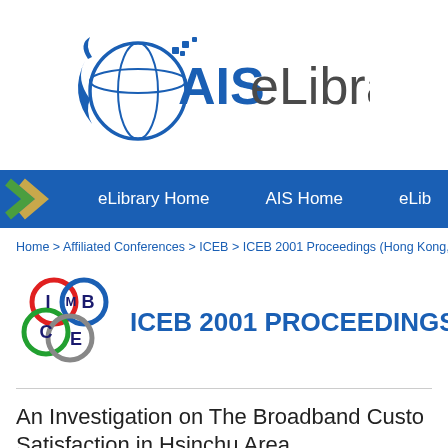[Figure (logo): AIS eLibrary logo with globe and stylized figure]
[Figure (logo): Navigation bar with chevron arrows (green and gold) and links: eLibrary Home, AIS Home, eLib...]
Home > Affiliated Conferences > ICEB > ICEB 2001 Proceedings (Hong Kong, SAR Ch
[Figure (logo): ICEB conference logo with Olympic-style colored rings and letters I, M, B, C, E]
ICEB 2001 PROCEEDINGS (HO
An Investigation on The Broadband Custo Satisfaction in Hsinchu Area